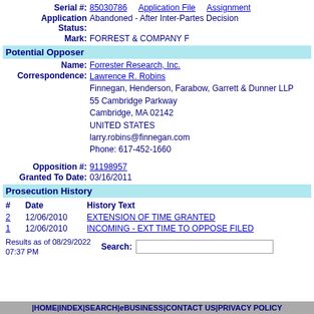Serial #: 85030786   Application File   Assignment
Application Status: Abandoned - After Inter-Partes Decision
Mark: FORREST & COMPANY F
Potential Opposer
Name: Forrester Research, Inc.
Correspondence: Lawrence R. Robins
Finnegan, Henderson, Farabow, Garrett & Dunner LLP
55 Cambridge Parkway
Cambridge, MA 02142
UNITED STATES
lawrence.robins@finnegan.com
Phone: 617-452-1660
Opposition #: 91198957
Granted To Date: 03/16/2011
Prosecution History
| # | Date | History Text |
| --- | --- | --- |
| 2 | 12/06/2010 | EXTENSION OF TIME GRANTED |
| 1 | 12/06/2010 | INCOMING - EXT TIME TO OPPOSE FILED |
Results as of 08/29/2022 07:37 PM   Search:
| HOME | INDEX| SEARCH | eBUSINESS | CONTACT US | PRIVACY POLICY